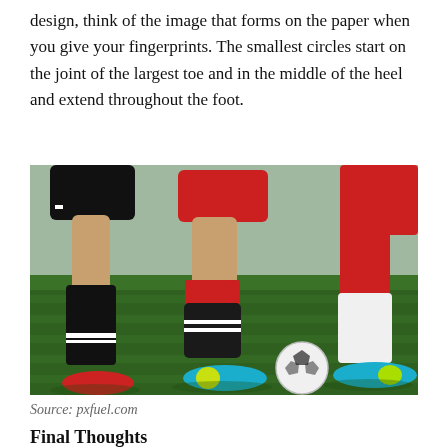design, think of the image that forms on the paper when you give your fingerprints. The smallest circles start on the joint of the largest toe and in the middle of the heel and extend throughout the foot.
[Figure (photo): Close-up photo of soccer players' legs during a match on a grass field. Players are wearing black and red uniforms with colorful cleats. A soccer ball is visible on the ground.]
Source: pxfuel.com
Final Thoughts